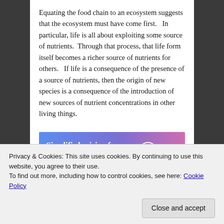Equating the food chain to an ecosystem suggests that the ecosystem must have come first.   In particular, life is all about exploiting some source of nutrients.  Through that process, that life form itself becomes a richer source of nutrients for others.   If life is a consequence of the presence of a source of nutrients, then the origin of new species is a consequence of the introduction of new sources of nutrient concentrations in other living things.
[Figure (other): WordPress.com advertisement banner: 'Simplified pricing for everything you need.' with WordPress.com logo on a blue-to-pink gradient background.]
This is how evolution was taught to me.   In order to
Privacy & Cookies: This site uses cookies. By continuing to use this website, you agree to their use.
To find out more, including how to control cookies, see here: Cookie Policy